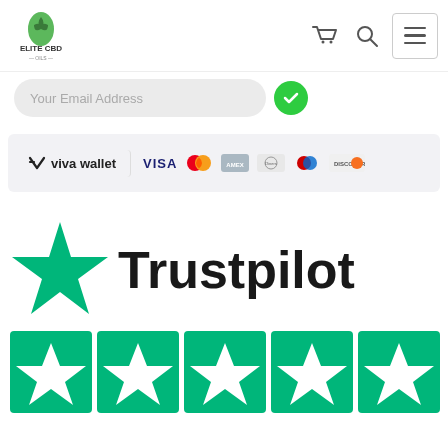Elite CBD Oils - navigation header with logo, cart, search, and menu icons
[Figure (screenshot): Email address input field with green checkmark button]
[Figure (infographic): Payment methods bar: Viva Wallet, VISA, MasterCard, American Express, Diners Club International, Maestro, Discover]
[Figure (logo): Trustpilot logo with large green star and the word Trustpilot, followed by five green star rating boxes]